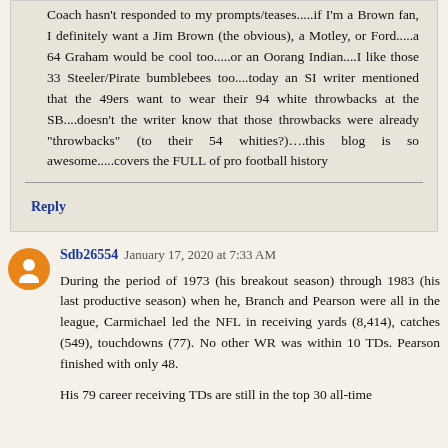Coach hasn't responded to my prompts/teases.....if I'm a Brown fan, I definitely want a Jim Brown (the obvious), a Motley, or Ford.....a 64 Graham would be cool too.....or an Oorang Indian....I like those 33 Steeler/Pirate bumblebees too....today an SI writer mentioned that the 49ers want to wear their 94 white throwbacks at the SB....doesn't the writer know that those throwbacks were already "throwbacks" (to their 54 whities?)….this blog is so awesome.....covers the FULL of pro football history
Reply
Sdb26554  January 17, 2020 at 7:33 AM
During the period of 1973 (his breakout season) through 1983 (his last productive season) when he, Branch and Pearson were all in the league, Carmichael led the NFL in receiving yards (8,414), catches (549), touchdowns (77). No other WR was within 10 TDs. Pearson finished with only 48.
His 79 career receiving TDs are still in the top 30 all-time